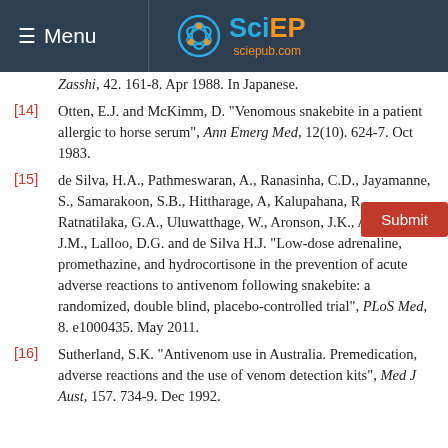Menu | SciEP sciepub.com
Zasshi, 42. 161-8. Apr 1988. In Japanese.
[14] Otten, E.J. and McKimm, D. "Venomous snakebite in a patient allergic to horse serum", Ann Emerg Med, 12(10). 624-7. Oct 1983.
[15] de Silva, H.A., Pathmeswaran, A., Ranasinha, C.D., Jayamanne, S., Samarakoon, S.B., Hittharage, A, Kalupahana, R., Ratnatilaka, G.A., Uluwatthage, W., Aronson, J.K., Armitage, J.M., Lalloo, D.G. and de Silva H.J. "Low-dose adrenaline, promethazine, and hydrocortisone in the prevention of acute adverse reactions to antivenom following snakebite: a randomized, double blind, placebo-controlled trial", PLoS Med, 8. e1000435. May 2011.
[16] Sutherland, S.K. "Antivenom use in Australia. Premedication, adverse reactions and the use of venom detection kits", Med J Aust, 157. 734-9. Dec 1992.